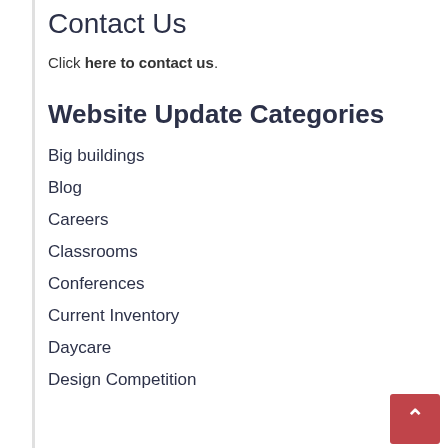Contact Us
Click here to contact us.
Website Update Categories
Big buildings
Blog
Careers
Classrooms
Conferences
Current Inventory
Daycare
Design Competition